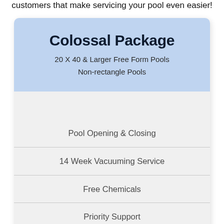customers that make servicing your pool even easier!
Colossal Package
20 X 40 & Larger Free Form Pools
Non-rectangle Pools
Pool Opening & Closing
14 Week Vacuuming Service
Free Chemicals
Priority Support